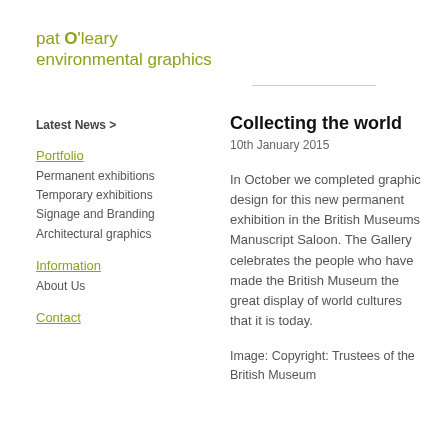pat O'leary environmental graphics
Latest News >
Portfolio
Permanent exhibitions
Temporary exhibitions
Signage and Branding
Architectural graphics
Information
About Us
Contact
Collecting the world
10th January 2015
In October we completed graphic design for this new permanent exhibition in the British Museums Manuscript Saloon. The Gallery celebrates the people who have made the British Museum the great display of world cultures that it is today.
Image: Copyright: Trustees of the British Museum